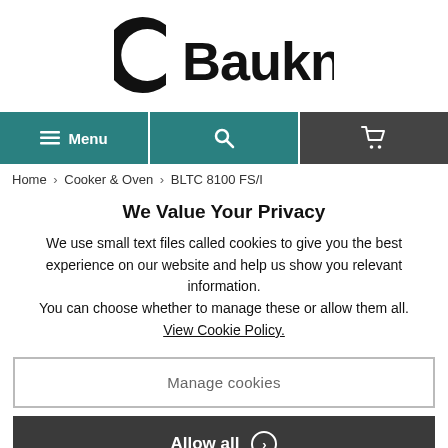[Figure (logo): Bauknecht brand logo with stylized C and bold text]
Menu | Search | Cart navigation bar
Home > Cooker & Oven > BLTC 8100 FS/I
We Value Your Privacy
We use small text files called cookies to give you the best experience on our website and help us show you relevant information.
You can choose whether to manage these or allow them all.
View Cookie Policy.
Manage cookies
Allow all